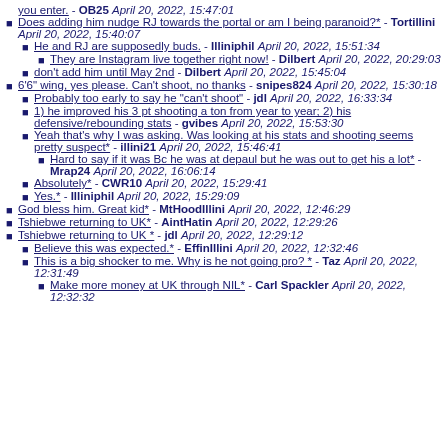you enter. - OB25 April 20, 2022, 15:47:01
Does adding him nudge RJ towards the portal or am I being paranoid?* - Tortillini April 20, 2022, 15:40:07
He and RJ are supposedly buds. - Illiniphil April 20, 2022, 15:51:34
They are Instagram live together right now! - Dilbert April 20, 2022, 20:29:03
don't add him until May 2nd - Dilbert April 20, 2022, 15:45:04
6'6" wing, yes please. Can't shoot, no thanks - snipes824 April 20, 2022, 15:30:18
Probably too early to say he "can't shoot" - jdl April 20, 2022, 16:33:34
1) he improved his 3 pt shooting a ton from year to year; 2) his defensive/rebounding stats - gvibes April 20, 2022, 15:53:30
Yeah that's why I was asking. Was looking at his stats and shooting seems pretty suspect* - illini21 April 20, 2022, 15:46:41
Hard to say if it was Bc he was at depaul but he was out to get his a lot* - Mrap24 April 20, 2022, 16:06:14
Absolutely* - CWR10 April 20, 2022, 15:29:41
Yes.* - Illiniphil April 20, 2022, 15:29:09
God bless him. Great kid* - MtHoodIllini April 20, 2022, 12:46:29
Tshiebwe returning to UK* - AintHatin April 20, 2022, 12:29:26
Tshiebwe returning to UK * - jdl April 20, 2022, 12:29:12
Believe this was expected.* - EffinIllini April 20, 2022, 12:32:46
This is a big shocker to me. Why is he not going pro? * - Taz April 20, 2022, 12:31:49
Make more money at UK through NIL* - Carl Spackler April 20, 2022, 12:32:32